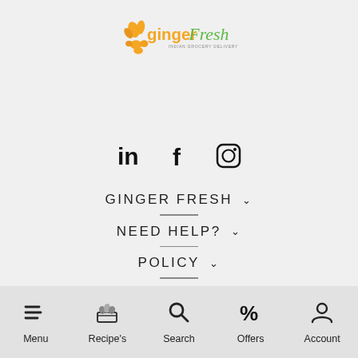[Figure (logo): GingerFresh Indian Grocery Delivery logo with orange ginger graphic and green/orange text]
[Figure (infographic): Social media icons: LinkedIn, Facebook, Instagram]
GINGER FRESH ˅
NEED HELP? ˅
POLICY ˅
Menu | Recipe's | Search | Offers | Account